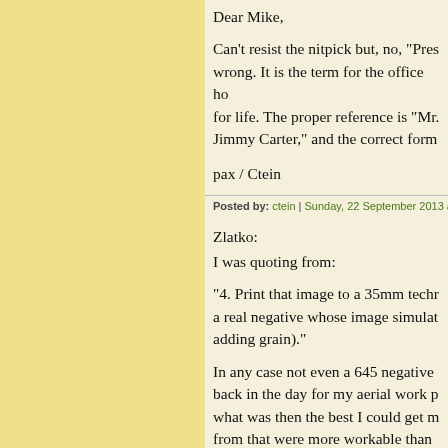Dear Mike,
Can't resist the nitpick but, no, "Pres... wrong. It is the term for the office ho... for life. The proper reference is "Mr.... Jimmy Carter," and the correct form...
pax / Ctein
Posted by: ctein | Sunday, 22 September 2013 at 01:19
Zlatko:
I was quoting from:
"4. Print that image to a 35mm techr... a real negative whose image simulat... adding grain)."
In any case not even a 645 negative ... back in the day for my aerial work p... what was then the best I could get m... from that were more workable than v... larger film - what is available today